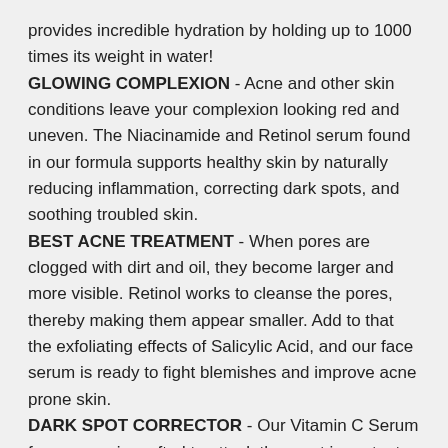provides incredible hydration by holding up to 1000 times its weight in water!
GLOWING COMPLEXION - Acne and other skin conditions leave your complexion looking red and uneven. The Niacinamide and Retinol serum found in our formula supports healthy skin by naturally reducing inflammation, correcting dark spots, and soothing troubled skin.
BEST ACNE TREATMENT - When pores are clogged with dirt and oil, they become larger and more visible. Retinol works to cleanse the pores, thereby making them appear smaller. Add to that the exfoliating effects of Salicylic Acid, and our face serum is ready to fight blemishes and improve acne prone skin.
DARK SPOT CORRECTOR - Our Vitamin C Serum face serum is crafted to attack the most important skin